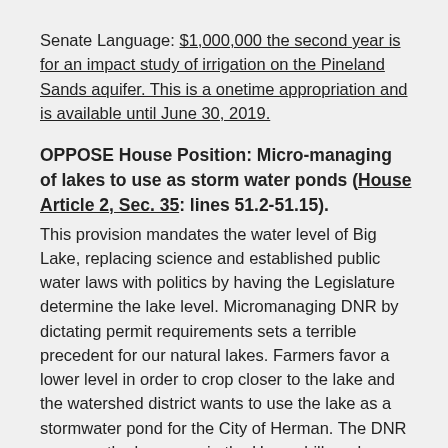Senate Language: $1,000,000 the second year is for an impact study of irrigation on the Pineland Sands aquifer. This is a onetime appropriation and is available until June 30, 2019.
OPPOSE House Position: Micro-managing of lakes to use as storm water ponds (House Article 2, Sec. 35: lines 51.2-51.15).
This provision mandates the water level of Big Lake, replacing science and established public water laws with politics by having the Legislature determine the lake level. Micromanaging DNR by dictating permit requirements sets a terrible precedent for our natural lakes. Farmers favor a lower level in order to crop closer to the lake and the watershed district wants to use the lake as a stormwater pond for the City of Herman. The DNR opposes the language in the House bill, and no Senate companion was even introduced.